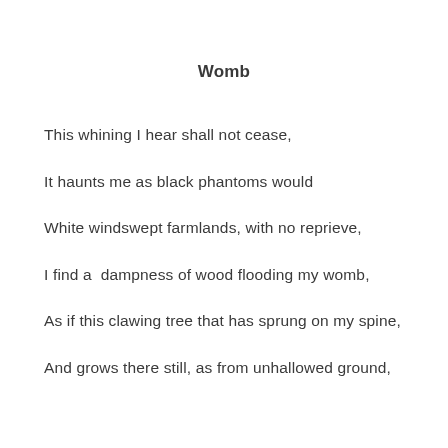Womb
This whining I hear shall not cease,
It haunts me as black phantoms would
White windswept farmlands, with no reprieve,
I find a  dampness of wood flooding my womb,
As if this clawing tree that has sprung on my spine,
And grows there still, as from unhallowed ground,